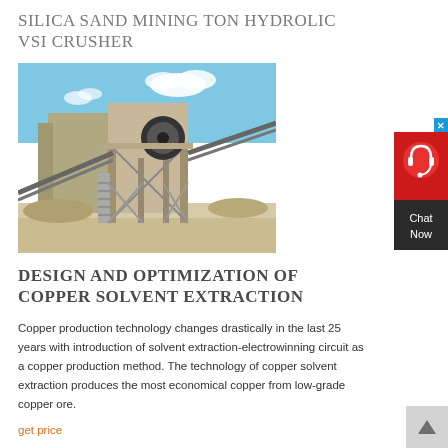SILICA SAND MINING TON HYDROLIC VSI CRUSHER
[Figure (photo): Outdoor industrial photo of a large silica sand mining VSI crusher plant with conveyor belts, structural steel frame, and blue sky with clouds in the background.]
DESIGN AND OPTIMIZATION OF COPPER SOLVENT EXTRACTION
Copper production technology changes drastically in the last 25 years with introduction of solvent extraction-electrowinning circuit as a copper production method. The technology of copper solvent extraction produces the most economical copper from low-grade copper ore.
get price